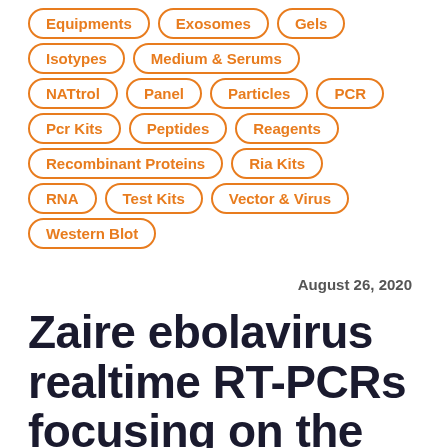Equipments
Exosomes
Gels
Isotypes
Medium & Serums
NATtrol
Panel
Particles
PCR
Pcr Kits
Peptides
Reagents
Recombinant Proteins
Ria Kits
RNA
Test Kits
Vector & Virus
Western Blot
August 26, 2020
Zaire ebolavirus realtime RT-PCRs focusing on the